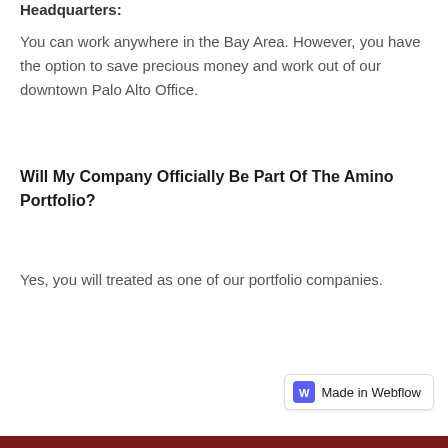Headquarters:
You can work anywhere in the Bay Area. However, you have the option to save precious money and work out of our downtown Palo Alto Office.
Will My Company Officially Be Part Of The Amino Portfolio?
Yes, you will treated as one of our portfolio companies.
Made in Webflow